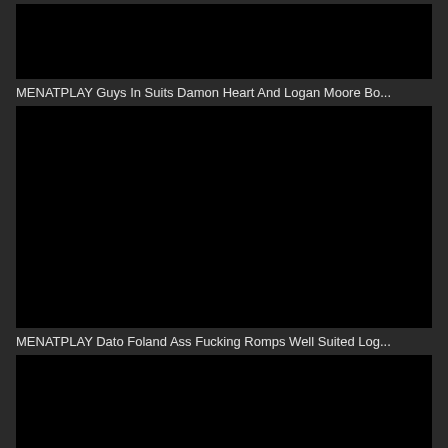[Figure (photo): Black thumbnail image (top, partially visible)]
MENATPLAY Guys In Suits Damon Heart And Logan Moore Bo...
[Figure (photo): Black thumbnail image (middle, large)]
MENATPLAY Dato Foland Ass Fucking Romps Well Suited Log...
[Figure (photo): Black thumbnail image (bottom, partially visible)]